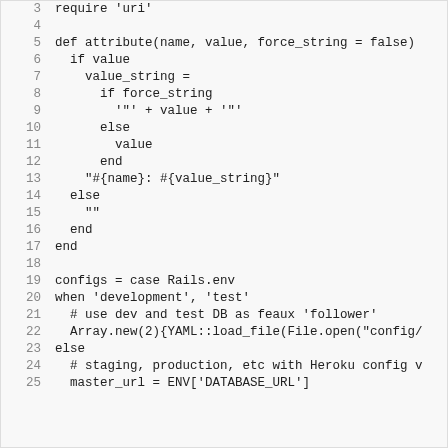[Figure (screenshot): Code block showing Ruby source code, lines 3-25, with line numbers on the left and monospaced code on the right. Background is light gray.]